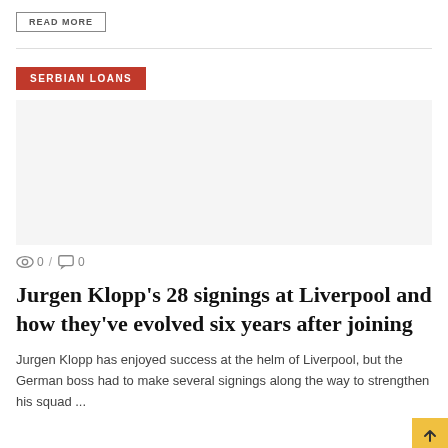READ MORE
SERBIAN LOANS
[Figure (photo): Article image placeholder (gray area)]
0 / 0
Jurgen Klopp's 28 signings at Liverpool and how they've evolved six years after joining
Jurgen Klopp has enjoyed success at the helm of Liverpool, but the German boss had to make several signings along the way to strengthen his squad ...